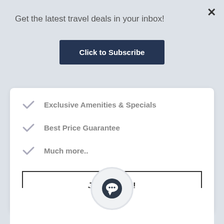Get the latest travel deals in your inbox!
Click to Subscribe
Exclusive Amenities & Specials
Best Price Guarantee
Much more..
JOIN NOW!
[Figure (illustration): Chat bubble icon in circular frame at bottom of page]